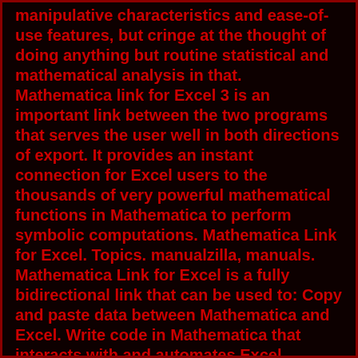manipulative characteristics and ease-of-use features, but cringe at the thought of doing anything but routine statistical and mathematical analysis in that. Mathematica link for Excel 3 is an important link between the two programs that serves the user well in both directions of export. It provides an instant connection for Excel users to the thousands of very powerful mathematical functions in Mathematica to perform symbolic computations. Mathematica Link for Excel. Topics. manualzilla, manuals. Mathematica Link for Excel is a fully bidirectional link that can be used to: Copy and paste data between Mathematica and Excel. Write code in Mathematica that interacts with and automates Excel. Develop customized Excel import and export routines in Mathematica. 1 day ago · Finance is the study and discipline of money,. The package "Mathematica Link for Excel". In the methods mentioned above the main focus was the Mathematica side. Excel and Mathematica can both read and write text files. For the exchange to work Excel and Mathematica have to use the same separators for the exchange to work of the Mathematica